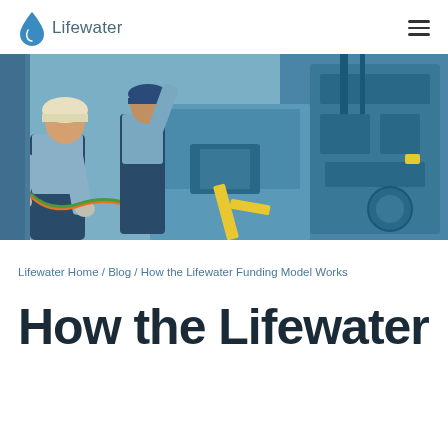Lifewater
[Figure (photo): Two workers in hard hats and work clothes operating blue industrial drilling machinery]
Lifewater Home / Blog / How the Lifewater Funding Model Works
How the Lifewater